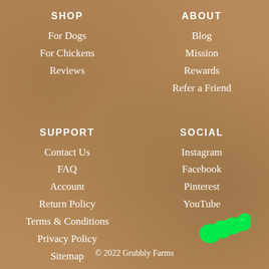SHOP
For Dogs
For Chickens
Reviews
ABOUT
Blog
Mission
Rewards
Refer a Friend
SUPPORT
Contact Us
FAQ
Account
Return Policy
Terms & Conditions
Privacy Policy
Sitemap
SOCIAL
Instagram
Facebook
Pinterest
YouTube
[Figure (illustration): Green grub/caterpillar illustration]
© 2022 Grubbly Farms